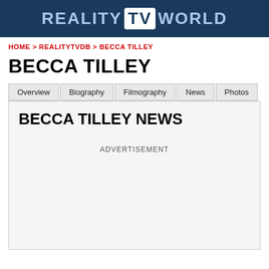REALITY TV WORLD
HOME > REALITYTVDB > BECCA TILLEY
BECCA TILLEY
Overview | Biography | Filmography | News | Photos
BECCA TILLEY NEWS
ADVERTISEMENT